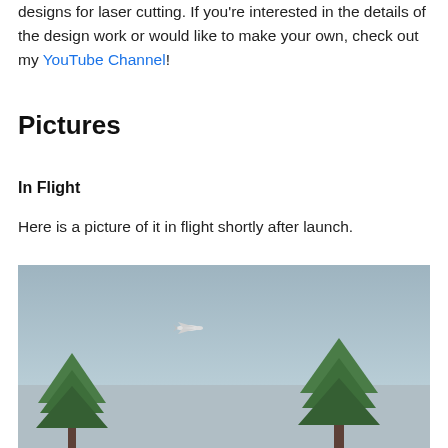designs for laser cutting. If you're interested in the details of the design work or would like to make your own, check out my YouTube Channel!
Pictures
In Flight
Here is a picture of it in flight shortly after launch.
[Figure (photo): Photo of a small aircraft (likely RC plane or drone) in flight shortly after launch, visible in the sky above two tall conifer trees.]